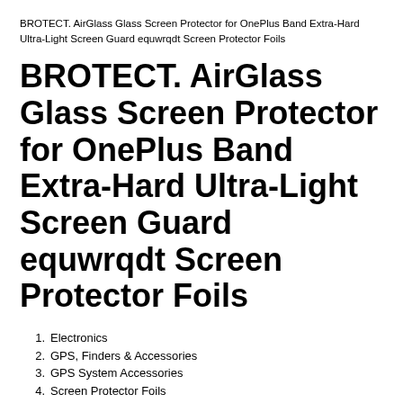BROTECT. AirGlass Glass Screen Protector for OnePlus Band Extra-Hard Ultra-Light Screen Guard equwrqdt Screen Protector Foils
BROTECT. AirGlass Glass Screen Protector for OnePlus Band Extra-Hard Ultra-Light Screen Guard equwrqdt Screen Protector Foils
Electronics
GPS, Finders & Accessories
GPS System Accessories
Screen Protector Foils
BROTECT. AirGlass Glass Screen Protector for OnePlus Band Extra-Hard Ultra-Light Screen Guard equwrqdt Screen Protector Foils